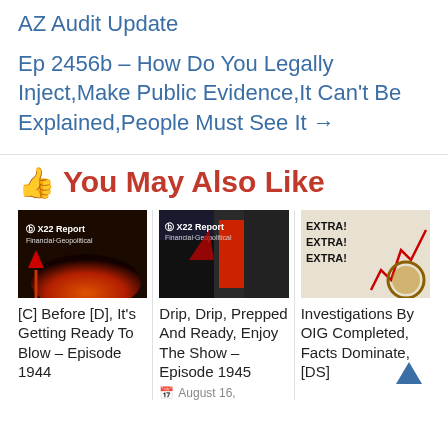AZ Audit Update
Ep 2456b – How Do You Legally Inject,Make Public Evidence,It Can't Be Explained,People Must See It →
👍 You May Also Like
[Figure (photo): X22 Report Financial & Geopolitical thumbnail with volcanic/red sky scene]
[C] Before [D], It's Getting Ready To Blow – Episode 1944
[Figure (photo): X22 Report Financial & Geopolitical thumbnail featuring Trump with red tie]
Drip, Drip, Prepped And Ready, Enjoy The Show – Episode 1945
August 16,
[Figure (photo): Newspaper extra extra extra with red stock chart and official seal]
Investigations By OIG Completed, Facts Dominate, [DS]